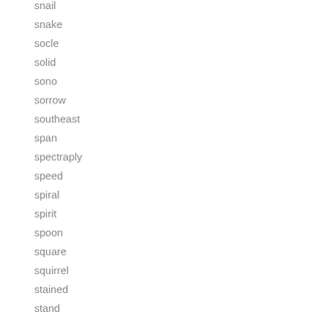snail
snake
socle
solid
sono
sorrow
southeast
span
spectraply
speed
spiral
spirit
spoon
square
squirrel
stained
stand